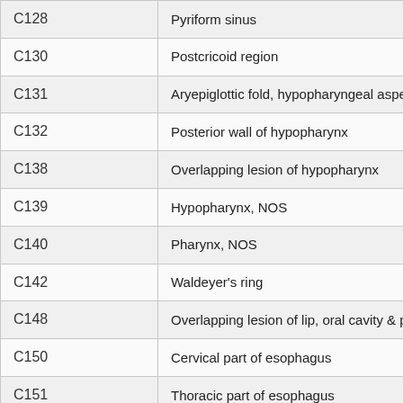| Code | Description |
| --- | --- |
| C128 | Pyriform sinus |
| C130 | Postcricoid region |
| C131 | Aryepiglottic fold, hypopharyngeal aspect |
| C132 | Posterior wall of hypopharynx |
| C138 | Overlapping lesion of hypopharynx |
| C139 | Hypopharynx, NOS |
| C140 | Pharynx, NOS |
| C142 | Waldeyer's ring |
| C148 | Overlapping lesion of lip, oral cavity & pharynx |
| C150 | Cervical part of esophagus |
| C151 | Thoracic part of esophagus |
| C152 | Abdominal part of esophagus |
| C153 | Upper third of esophagus |